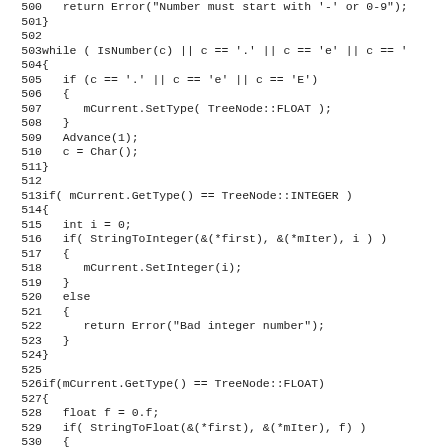[Figure (screenshot): Source code listing in monospace font showing lines 500-531 of a C++ lexer/parser, featuring number parsing logic with while loop, integer and float type detection using TreeNode::INTEGER and TreeNode::FLOAT, and calls to StringToInteger and StringToFloat functions.]